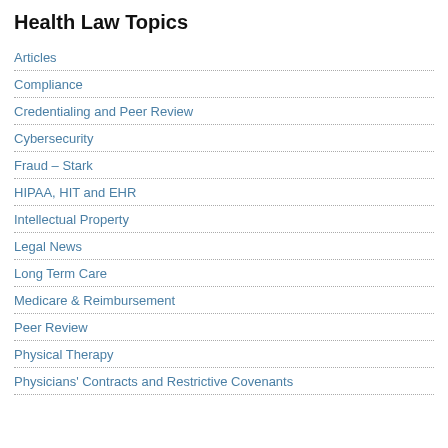Health Law Topics
Articles
Compliance
Credentialing and Peer Review
Cybersecurity
Fraud – Stark
HIPAA, HIT and EHR
Intellectual Property
Legal News
Long Term Care
Medicare & Reimbursement
Peer Review
Physical Therapy
Physicians' Contracts and Restrictive Covenants